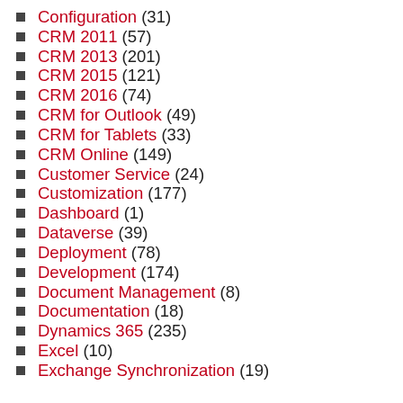Configuration (31)
CRM 2011 (57)
CRM 2013 (201)
CRM 2015 (121)
CRM 2016 (74)
CRM for Outlook (49)
CRM for Tablets (33)
CRM Online (149)
Customer Service (24)
Customization (177)
Dashboard (1)
Dataverse (39)
Deployment (78)
Development (174)
Document Management (8)
Documentation (18)
Dynamics 365 (235)
Excel (10)
Exchange Synchronization (19)